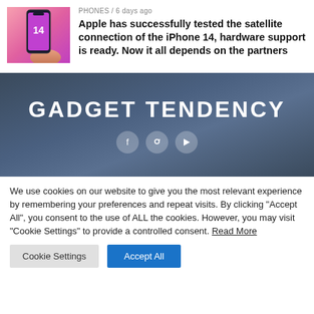[Figure (photo): iPhone 14 held in a hand against a pink/magenta gradient background, with the number 14 displayed on screen]
PHONES / 6 days ago
Apple has successfully tested the satellite connection of the iPhone 14, hardware support is ready. Now it all depends on the partners
[Figure (logo): Gadget Tendency logo in white text on a dark blue gradient banner background, with social media icons below]
We use cookies on our website to give you the most relevant experience by remembering your preferences and repeat visits. By clicking "Accept All", you consent to the use of ALL the cookies. However, you may visit "Cookie Settings" to provide a controlled consent. Read More
Cookie Settings | Accept All